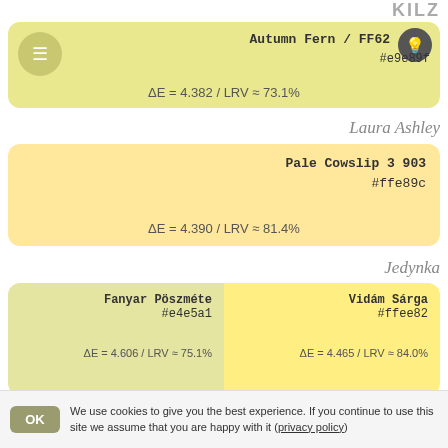KILZ
Autumn Fern / FF62
#e9e89f
ΔE = 4.382 / LRV ≈ 73.1%
Laura Ashley
Pale Cowslip 3 903
#ffe89c
ΔE = 4.390 / LRV ≈ 81.4%
Jedynka
Fanyar Pöszmétе
#e4e5a1
ΔE = 4.606 / LRV ≈ 75.1%
Vidám Sárga
#ffee82
ΔE = 4.465 / LRV ≈ 84.0%
Green Planet Paints
Reed
#fceea5
We use cookies to give you the best experience. If you continue to use this site we assume that you are happy with it (privacy policy)